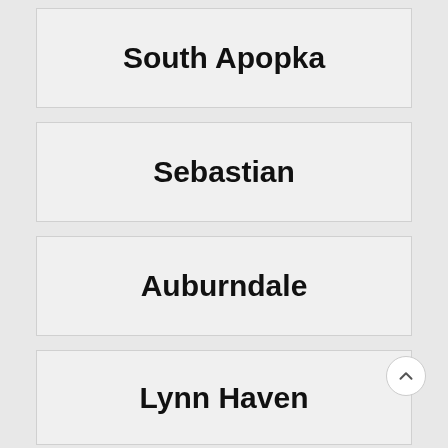South Apopka
Sebastian
Auburndale
Lynn Haven
St. Augustine